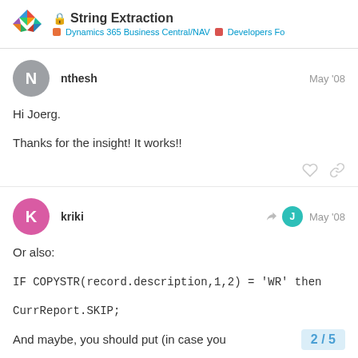String Extraction | Dynamics 365 Business Central/NAV | Developers Fo
nthesh — May '08
Hi Joerg.

Thanks for the insight! It works!!
kriki — May '08
Or also:

IF COPYSTR(record.description,1,2) = 'WR' then

CurrReport.SKIP;

And maybe, you should put (in case you
2 / 5